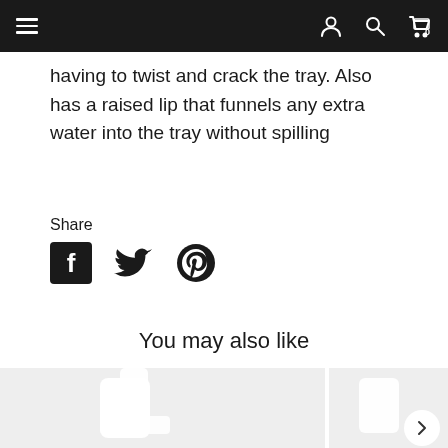Navigation bar with hamburger menu, user icon, search icon, and cart (0)
having to twist and crack the tray. Also has a raised lip that funnels any extra water into the tray without spilling
Share
[Figure (infographic): Social share icons: Facebook, Twitter, Pinterest]
You may also like
[Figure (photo): Product image on left: white plastic device/appliance on light grey background]
[Figure (photo): Partial product image on right: white product on light grey background, with arrow navigation button]